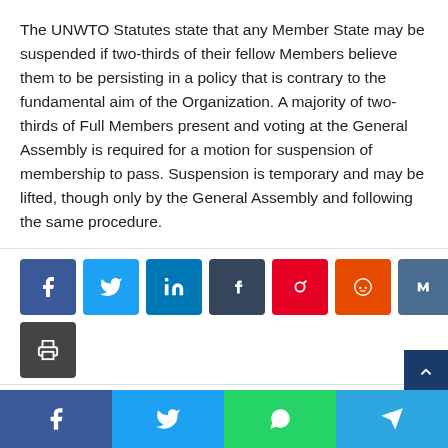The UNWTO Statutes state that any Member State may be suspended if two-thirds of their fellow Members believe them to be persisting in a policy that is contrary to the fundamental aim of the Organization. A majority of two-thirds of Full Members present and voting at the General Assembly is required for a motion for suspension of membership to pass. Suspension is temporary and may be lifted, though only by the General Assembly and following the same procedure.
[Figure (infographic): Row of social media share buttons: Facebook (blue), Twitter (cyan), LinkedIn (dark blue), Tumblr (dark navy), Pinterest (red), Reddit (orange), VK (steel blue), Email (dark gray), and Print (dark gray) icon buttons. Below those is a scroll-to-top button. At the bottom of the page is a bottom share bar with Facebook, Twitter, WhatsApp, and Telegram buttons.]